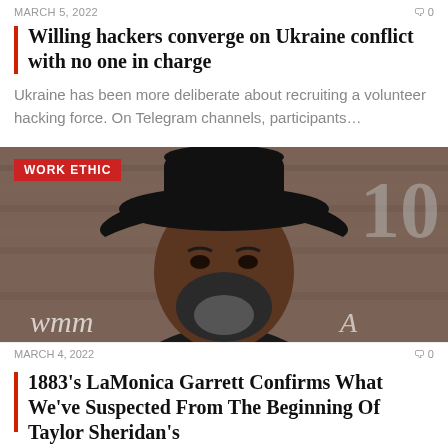MARCH 5, 2022  0
Willing hackers converge on Ukraine conflict with no one in charge
Ukraine has been more deliberate about recruiting a volunteer hacking force. On Telegram channels, participants…
[Figure (photo): Man wearing a black cowboy hat with a beard, photographed at what appears to be an entertainment event. A red badge reading 'WORK ETHIC' is overlaid in the top-left corner of the image.]
MARCH 4, 2022  0
1883's LaMonica Garrett Confirms What We've Suspected From The Beginning Of Taylor Sheridan's